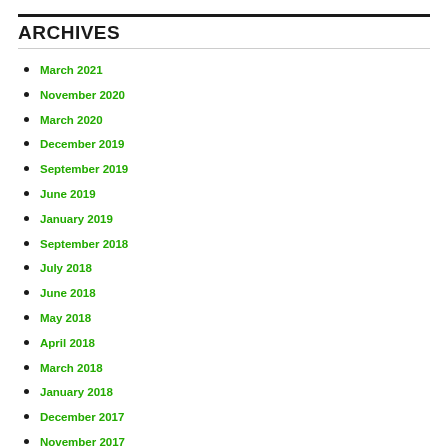ARCHIVES
March 2021
November 2020
March 2020
December 2019
September 2019
June 2019
January 2019
September 2018
July 2018
June 2018
May 2018
April 2018
March 2018
January 2018
December 2017
November 2017
September 2017
June 2017
May 2017
April 2017
February 2017